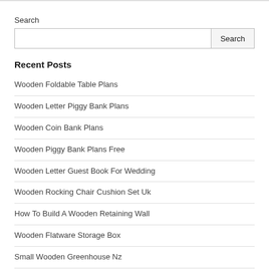Search
Search input and button
Recent Posts
Wooden Foldable Table Plans
Wooden Letter Piggy Bank Plans
Wooden Coin Bank Plans
Wooden Piggy Bank Plans Free
Wooden Letter Guest Book For Wedding
Wooden Rocking Chair Cushion Set Uk
How To Build A Wooden Retaining Wall
Wooden Flatware Storage Box
Small Wooden Greenhouse Nz
Faux Wooden Venetian Blinds Uk